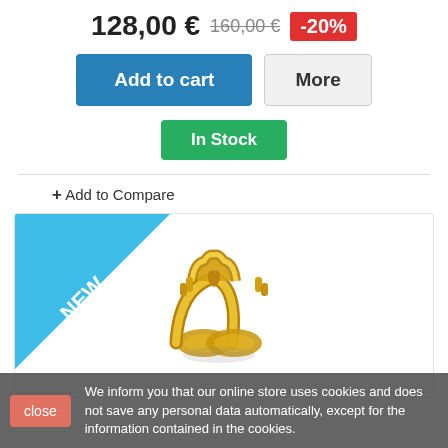128,00 € 160,00 € -20%
Add to cart  More
In Stock
+ Add to Compare
[Figure (photo): Gold claddagh/heart ring with NEW ribbon badge in top-left corner of product card]
We inform you that our online store uses cookies and does not save any personal data automatically, except for the information contained in the cookies.